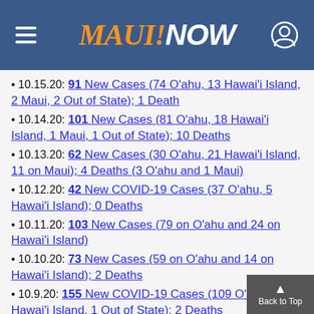MAUI NOW
10.15.20: 91 New Cases (74 O‘ahu, 13 Hawai‘i Island, 2 Maui, 2 Out of State); 1 Death
10.14.20: 101 New Cases (81 O‘ahu, 18 Hawai‘i Island, 1 Maui, 1 Out of State); 10 Deaths
10.13.20: 62 New Cases (30 O‘ahu, 21 Hawai‘i Island, 11 on Maui); 4 Deaths (3 O‘ahu and 1 Maui)
10.12.20: 42 New COVID-19 Cases (37 O‘ahu, 5 Hawai‘i Island); 0 Deaths
10.11.20: 103 New Cases (79 on O‘ahu and 24 on Hawai‘i Island)
10.10.20: 73 New Cases (59 on O‘ahu and 14 on Hawai‘i Island); 2 Deaths
10.9.20: 155 New COVID-19 Cases (109 O‘a... Hawai‘i Island, 1 Out of State); 2 Deaths